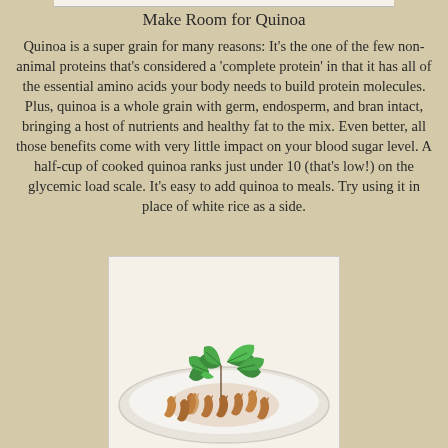Make Room for Quinoa
Quinoa is a super grain for many reasons: It's the one of the few non-animal proteins that's considered a 'complete protein' in that it has all of the essential amino acids your body needs to build protein molecules. Plus, quinoa is a whole grain with germ, endosperm, and bran intact, bringing a host of nutrients and healthy fat to the mix. Even better, all those benefits come with very little impact on your blood sugar level. A half-cup of cooked quinoa ranks just under 10 (that's low!) on the glycemic load scale. It's easy to add quinoa to meals. Try using it in place of white rice as a side.
[Figure (photo): A white plate with whole grain fusilli pasta and fresh green basil leaves on top, on a white background.]